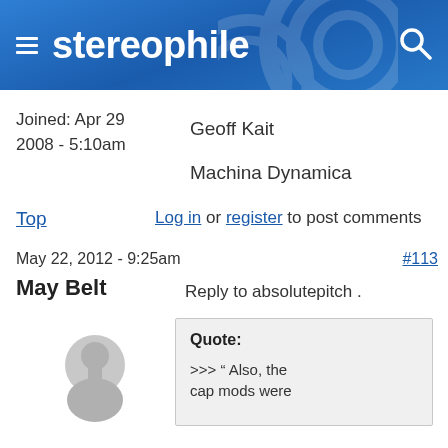stereophile
Joined: Apr 29
2008 - 5:10am
Geoff Kait
Machina Dynamica
Top
Log in or register to post comments
May 22, 2012 - 9:25am
#113
May Belt
Reply to absolutepitch .
[Figure (illustration): Generic user avatar silhouette in light gray]
Quote:
>>> " Also, the cap mods were